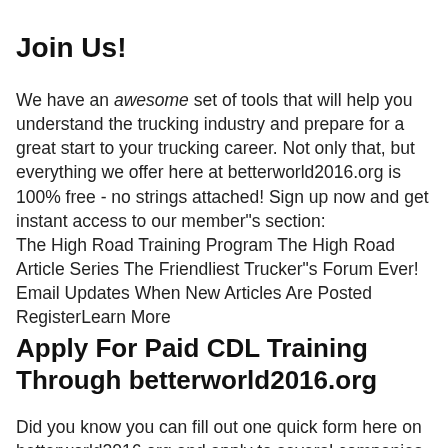Join Us!
We have an awesome set of tools that will help you understand the trucking industry and prepare for a great start to your trucking career. Not only that, but everything we offer here at betterworld2016.org is 100% free - no strings attached! Sign up now and get instant access to our member"s section:
The High Road Training Program The High Road Article Series The Friendliest Trucker"s Forum Ever! Email Updates When New Articles Are Posted RegisterLearn More
Apply For Paid CDL Training Through betterworld2016.org
Did you know you can fill out one quick form here on betterworld2016.org and apply to several companies